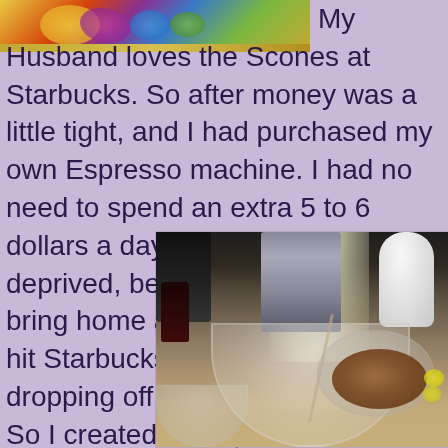[Figure (photo): Partial view of a colorful decorative plate with yellow, red, and blue designs on a countertop background]
My Husband loves the Scones at Starbucks. So after money was a little tight, and I had purchased my own Espresso machine. I had no need to spend an extra 5 to 6 dollars a day. My Hubby felt deprived, because I would always bring home a scone, when I would hit Starbucks in the morning after dropping off my little one at school. So I created these,  so he could get his sugar fix.
[Figure (photo): Kitchen countertop scene with mixing bowls, a large bowl filled with flour, a bowl of pecans on the right, kitchen appliances in the background including what appears to be a slow cooker and grinder, and a white vase near a bright window]